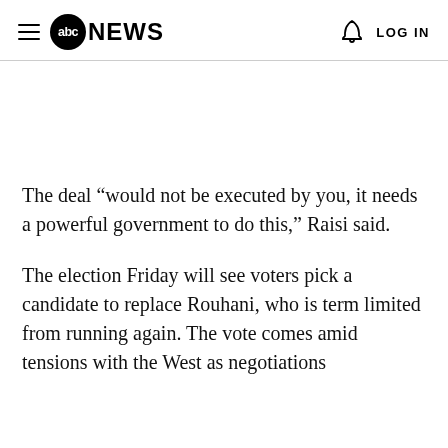abc NEWS  LOG IN
The deal “would not be executed by you, it needs a powerful government to do this,” Raisi said.
The election Friday will see voters pick a candidate to replace Rouhani, who is term limited from running again. The vote comes amid tensions with the West as negotiations